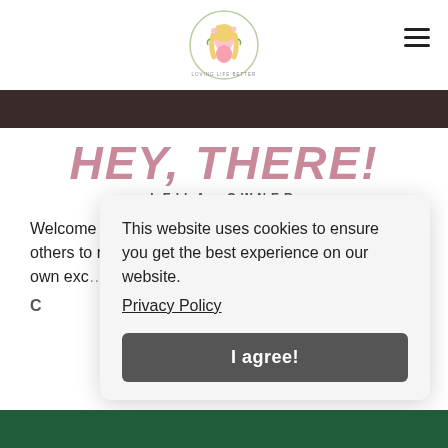[Figure (logo): Circular logo with illustrated girl with long blonde hair wearing pink, surrounded by floral/leaf elements and text around the border]
[Figure (photo): Dark photo strip showing a partial background image, dark tones]
HEY, THERE!
LEILA, OWNER
Welcome to my blog! I'm passionate about inspiring others to reach their full potential by overcoming their own exc…
C…
This website uses cookies to ensure you get the best experience on our website. Privacy Policy
[Figure (screenshot): Cookie consent popup with 'I agree!' button]
[Figure (other): Dark green footer bar at the bottom]